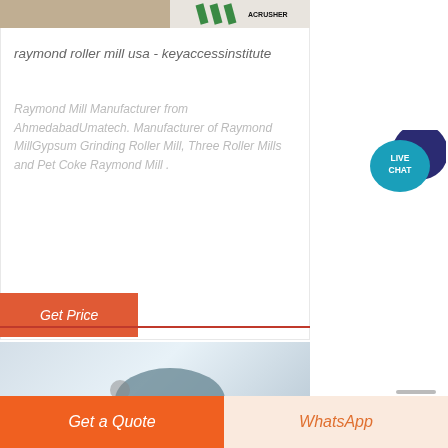[Figure (photo): Partial image of mining/crushing equipment with green ACRUSHER logo on right side]
raymond roller mill usa - keyaccessinstitute
Raymond Mill Manufacturer from AhmedabadUmatech. Manufacturer of Raymond MillGypsum Grinding Roller Mill, Three Roller Mills and Pet Coke Raymond Mill .
[Figure (illustration): Live Chat speech bubble widget with teal and dark blue circles and LIVE CHAT text]
Get Price
[Figure (photo): Partial image of industrial roller mill equipment, light blue/grey tones]
Get a Quote
WhatsApp